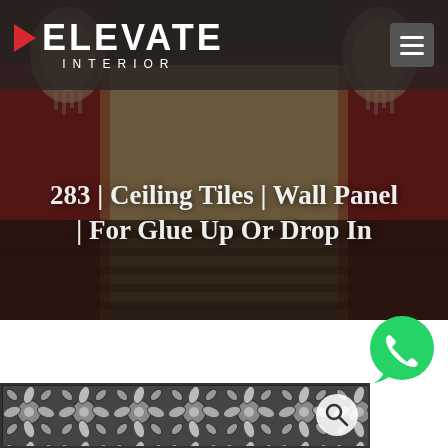[Figure (logo): Elevate Interior logo with red play button triangle, white bold ELEVATE text and INTERIOR subtitle]
[Figure (screenshot): Navigation hamburger menu icon (three horizontal lines) on dark grey square background]
[Figure (photo): Hero background photo of an ornate theatre/auditorium interior with chandelier pendants and red curtains]
283 | Ceiling Tiles | Wall Panel | For Glue Up Or Drop In
[Figure (illustration): WhatsApp chat icon in green circle with white phone handset]
[Figure (photo): Product image showing a repeating woven/knotted geometric ceiling tile pattern in grey tones with a magnifier search icon overlay]